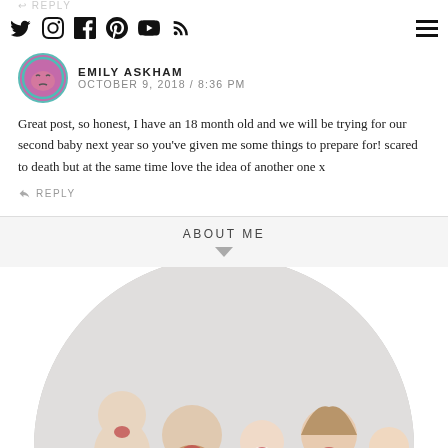REPLY
Social media icons: Twitter, Instagram, Facebook, Pinterest, YouTube, RSS, Hamburger menu
EMILY ASKHAM
OCTOBER 9, 2018 / 8:36 PM
Great post, so honest, I have an 18 month old and we will be trying for our second baby next year so you’ve given me some things to prepare for! scared to death but at the same time love the idea of another one x
REPLY
ABOUT ME
[Figure (photo): Family photo of two adults and three children, cropped in a circle shape against a light grey background.]